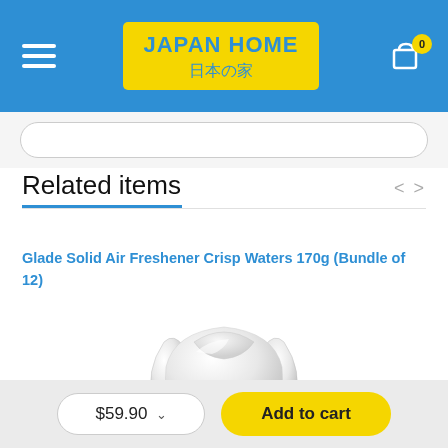[Figure (logo): Japan Home logo — yellow rectangle with 'JAPAN HOME' in blue and Japanese characters '日本の家' below, displayed on a blue navigation header bar with hamburger menu on left and shopping cart icon with badge '0' on right]
Related items
Glade Solid Air Freshener Crisp Waters 170g (Bundle of 12)
[Figure (photo): White Glade Solid Air Freshener product container, dome-shaped with a flat base, photographed on white background]
$59.90
Add to cart